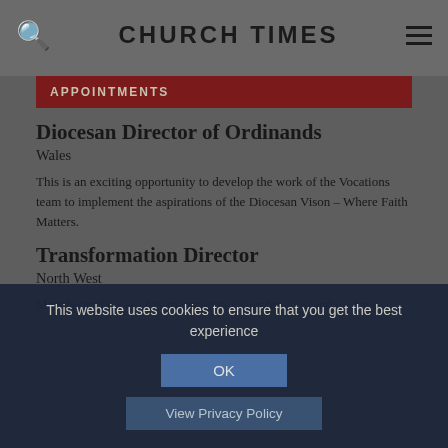CHURCH TIMES
APPOINTMENTS
Diocesan Director of Ordinands
Wales
This is an exciting opportunity to develop the work of the Vocations team to implement the aspirations of the Diocesan Vison – Where Faith Matters.
Transformation Director
North West
Manchester Diocese has an inspiring vision for 2030 and we have
This website uses cookies to ensure that you get the best experience
OK
View Privacy Policy